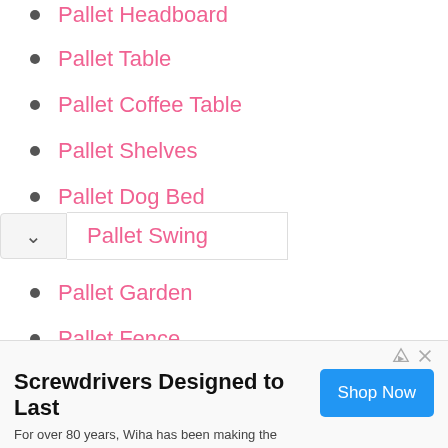Pallet Headboard
Pallet Table
Pallet Coffee Table
Pallet Shelves
Pallet Dog Bed
Pallet Garden
Pallet Fence
Pallet Swing
Screwdrivers Designed to Last
For over 80 years, Wiha has been making the most durable screwdrivers on the market. Wiha Tools
Shop Now